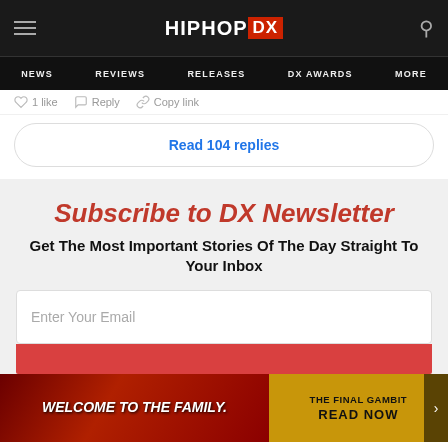[Figure (screenshot): HipHopDX website header with hamburger menu icon on left, HipHopDX logo in center, and search icon on right, on dark background]
NEWS  REVIEWS  RELEASES  DX AWARDS  MORE
1 like  Reply  Copy link
Read 104 replies
Subscribe to DX Newsletter
Get The Most Important Stories Of The Day Straight To Your Inbox
Enter Your Email
[Figure (screenshot): Red advertisement banner showing 'WELCOME TO THE FAMILY.' on the left side and 'THE FINAL GAMBIT READ NOW' on yellow/gold background on the right side, with a next arrow button on the far right]